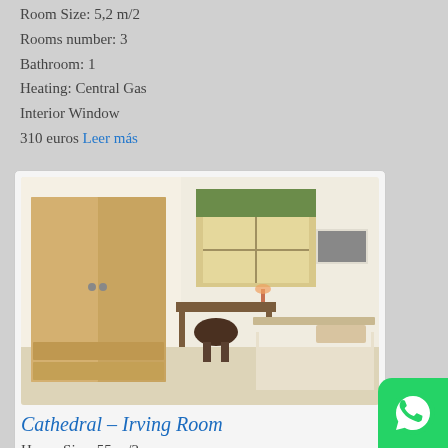Room Size: 5,2 m/2
Rooms number: 3
Bathroom: 1
Heating: Central Gas
Interior Window
310 euros Leer más
[Figure (photo): Bedroom interior with wooden wardrobe, desk, chair, window with green blind, and single bed]
Cathedral – Irving Room
House Size: 55 m/2